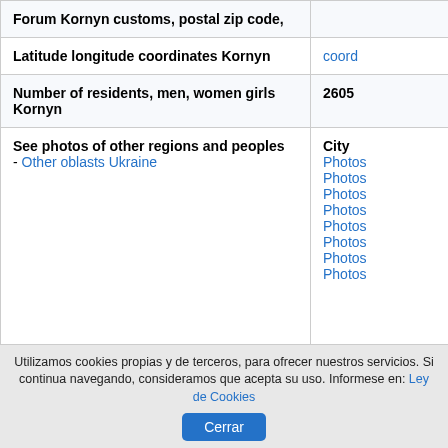|  |  |
| --- | --- |
| Forum Kornyn customs, postal zip code, |  |
| Latitude longitude coordinates Kornyn | coord… |
| Number of residents, men, women girls Kornyn | 2605 |
| See photos of other regions and peoples
- Other oblasts Ukraine | City
Photos…
Photos…
Photos…
Photos…
Photos…
Photos…
Photos…
Photos… |
Directory
Utilizamos cookies propias y de terceros, para ofrecer nuestros servicios. Si continua navegando, consideramos que acepta su uso. Informese en: Ley de Cookies